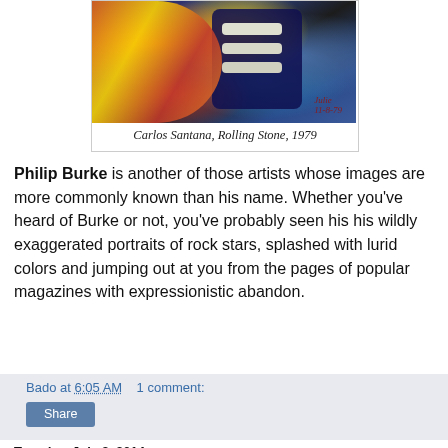[Figure (illustration): Colorful expressionistic portrait painting of Carlos Santana with a blue guitar, vivid colors of orange, red, and yellow]
Carlos Santana, Rolling Stone, 1979
Philip Burke is another of those artists whose images are more commonly known than his name. Whether you’ve heard of Burke or not, you’ve probably seen his his wildly exaggerated portraits of rock stars, splashed with lurid colors and jumping out at you from the pages of popular magazines with expressionistic abandon.
Bado at 6:05 AM    1 comment:
Share
Tuesday, July 8, 2014
"Hidden Persuasion: 33 Psychological